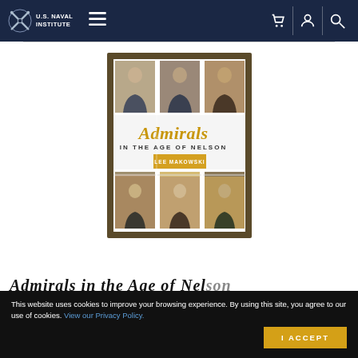U.S. Naval Institute
[Figure (illustration): Book cover of 'Admirals in the Age of Nelson' by Lee Makowski, showing a 3x3 grid of portrait paintings of admirals on a textured dark background, with decorative italic title text in gold/black.]
This website uses cookies to improve your browsing experience. By using this site, you agree to our use of cookies. View our Privacy Policy.